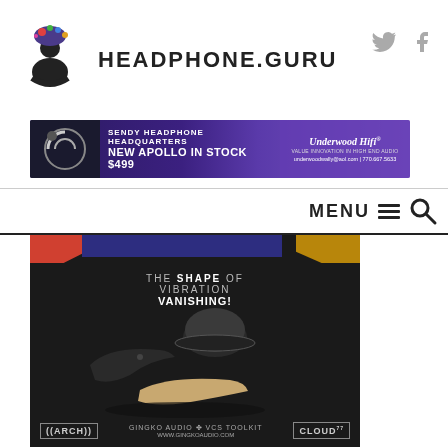HEADPHONE.GURU
[Figure (infographic): Banner advertisement for Sendy Headphone Headquarters - New Apollo In Stock $499, Underwood HiFi, underwoodwally@aol.com | 770.667.5633]
MENU
[Figure (infographic): Advertisement for Gingko Audio VCS Toolkit featuring ARCH and CLOUD products with text: THE SHAPE OF VIBRATION VANISHING! www.gingkoaudio.com]